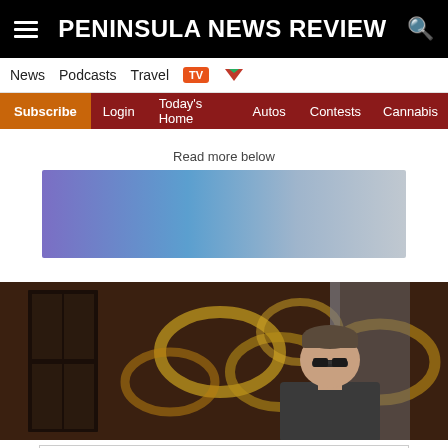PENINSULA NEWS REVIEW
News  Podcasts  Travel  TV
Subscribe  Login  Today's Home  Autos  Contests  Cannabis
Read more below
[Figure (other): Gradient advertisement banner, purple to blue to grey]
[Figure (photo): Man with glasses in front of decorative gold and grey sculptural wall art]
[Figure (other): Advertisement: Looking for work or a new career? August 25, 11AM-3PM. Featuring 25+ Exhibitors and Growing! CLICK HERE]